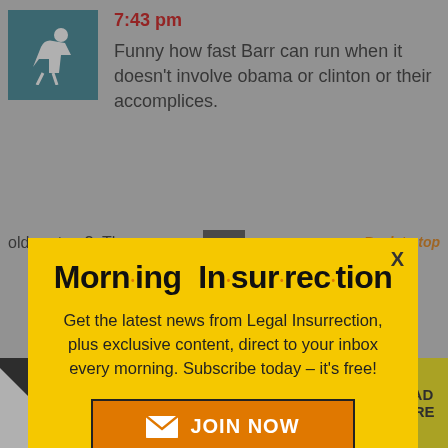7:43 pm
Funny how fast Barr can run when it doesn't involve obama or clinton or their accomplices.
[Figure (screenshot): Morning Insurrection popup modal with yellow background, title 'Morn·ing In·sur·rec·tion', subscription text, and JOIN NOW button]
old system?. The one sucks.
Back to top
[Figure (infographic): THE PERSPECTIVE ad bar with mirrored letters, SEE WHAT YOU'RE MISSING, READ MORE button]